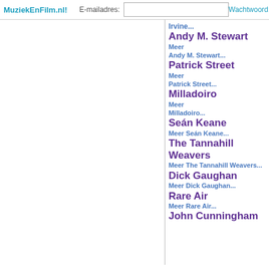MuziekEnFilm.nl!  E-mailadres:  Wachtwoord:
Irvine...
Andy M. Stewart Meer Andy M. Stewart...
Patrick Street Meer Patrick Street...
Milladoiro Meer Milladoiro...
Seán Keane Meer Seán Keane...
The Tannahill Weavers Meer The Tannahill Weavers...
Dick Gaughan Meer Dick Gaughan...
Rare Air Meer Rare Air...
John Cunningham